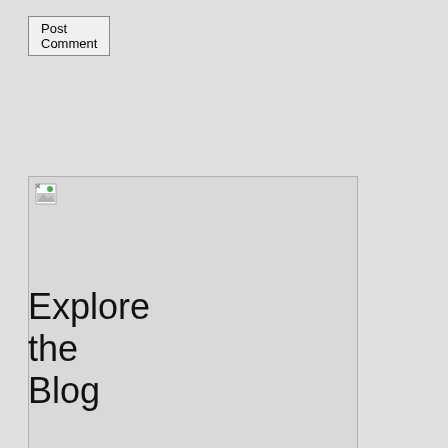Post Comment
[Figure (other): Broken image placeholder - a large light gray rectangle with a broken image icon in the upper left corner]
Explore the Blog